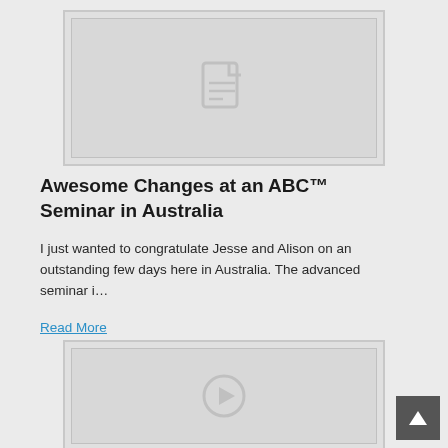[Figure (illustration): Placeholder thumbnail with document/page icon centered on light gray background]
Awesome Changes at an ABC™ Seminar in Australia
I just wanted to congratulate Jesse and Alison on an outstanding few days here in Australia. The advanced seminar i…
Read More
[Figure (illustration): Placeholder thumbnail with play button icon centered on light gray background]